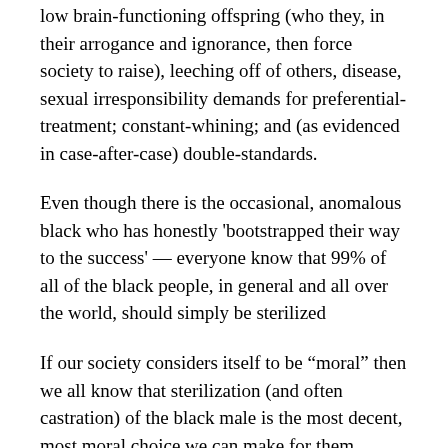low brain-functioning offspring (who they, in their arrogance and ignorance, then force society to raise), leeching off of others, disease, sexual irresponsibility demands for preferential-treatment; constant-whining; and (as evidenced in case-after-case) double-standards.
Even though there is the occasional, anomalous black who has honestly 'bootstrapped their way to the success' — everyone know that 99% of all of the black people, in general and all over the world, should simply be sterilized
If our society considers itself to be “moral” then we all know that sterilization (and often castration) of the black male is the most decent, most moral choice we can make for them.
The procedure is cheap and painless AND it helps prevent the arrival of innocent offspring being brought into a world where those who sired them care nothing about them and where they are forced to live as mental and moral inferiors.
It’s a win-win for everyone involved and for the entire planet.